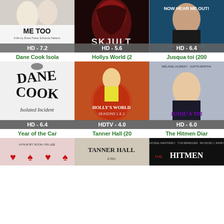[Figure (photo): Movie poster for 'Me Too' showing two people, rating badge HD - 7.2]
[Figure (photo): Movie poster for 'Skjult' dark hooded figure, rating badge HD - 5.6]
[Figure (photo): Movie poster for 'Now Hear Me Out!' man plugging ears, rating badge HD - 6.4]
Dane Cook Isola
Hollys World (2
Jusqua toi (200
[Figure (photo): Movie poster for 'Dane Cook Isolated Incident' black and white graffiti style, rating badge HD - 6.4]
[Figure (photo): Movie poster for 'Holly's World' seasons 1&2 with blonde woman, rating badge HDTV - 4.0]
[Figure (photo): Movie poster for 'Jusqu'à toi' with woman looking up, rating badge HD - 6.0]
Year of the Car
Tanner Hall (20
The Hitmen Diar
[Figure (photo): Movie poster for 'Year of the Car' A film by Sook-Yin Lee]
[Figure (photo): Movie poster for 'Tanner Hall (20']
[Figure (photo): Movie poster for 'The Hitmen Diaries' with cast names]